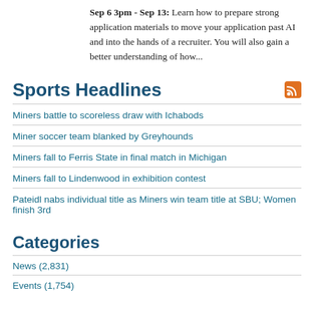Sep 6 3pm - Sep 13: Learn how to prepare strong application materials to move your application past AI and into the hands of a recruiter. You will also gain a better understanding of how...
Sports Headlines
Miners battle to scoreless draw with Ichabods
Miner soccer team blanked by Greyhounds
Miners fall to Ferris State in final match in Michigan
Miners fall to Lindenwood in exhibition contest
Pateidl nabs individual title as Miners win team title at SBU; Women finish 3rd
Categories
News (2,831)
Events (1,754)